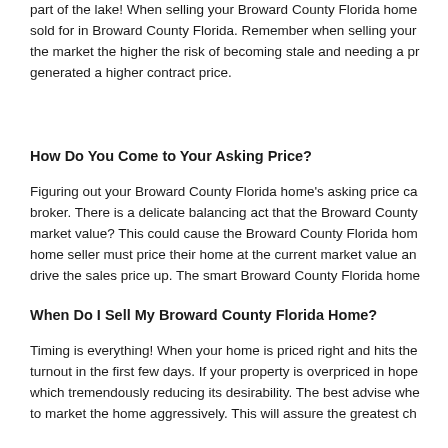part of the lake! When selling your Broward County Florida home, sold for in Broward County Florida. Remember when selling your the market the higher the risk of becoming stale and needing a pr generated a higher contract price.
How Do You Come to Your Asking Price?
Figuring out your Broward County Florida home's asking price ca broker. There is a delicate balancing act that the Broward County market value? This could cause the Broward County Florida hom home seller must price their home at the current market value an drive the sales price up. The smart Broward County Florida home
When Do I Sell My Broward County Florida Home?
Timing is everything! When your home is priced right and hits the turnout in the first few days. If your property is overpriced in hope which tremendously reducing its desirability. The best advise whe to market the home aggressively. This will assure the greatest ch
What's My Broward County FL Home Worth? Top Broward C
Want to know whats my home worth or “What's my Broward Cou estate listing broker, Patty Da Silva. Patty will provided you with a